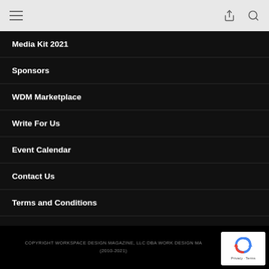[hamburger menu icon] [share icon] [search icon]
Media Kit 2021
Sponsors
WDM Marketplace
Write For Us
Event Calendar
Contact Us
Terms and Conditions
Privacy Policy
COPYRIGHT WORKSPACE DESIGN MAGAZINE, LLC DBA WORK DESIGN MA... (2010-2021)